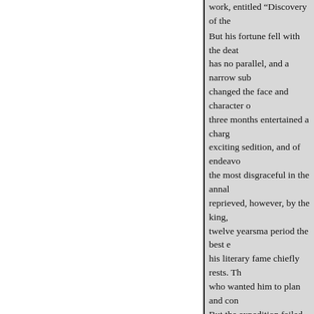work, entitled Discovery of the... But his fortune fell with the deat... has no parallel, and a narrow sub... changed the face and character o... three months entertained a charg... exciting sedition, and of endeavo... the most disgraceful in the annal... reprieved, however, by the king,... twelve yearsma period the best e... his literary fame chiefly rests. Th... who wanted him to plan and con... But the expedition failed, and Si... him, his enemies proceeded on t... with the same dauntless resoluti... Brydges, “ that will not read wit... resentment and soi
1 Read--a memoir of Raleigh Biography;" also, the biography much for English literature.
« Previous